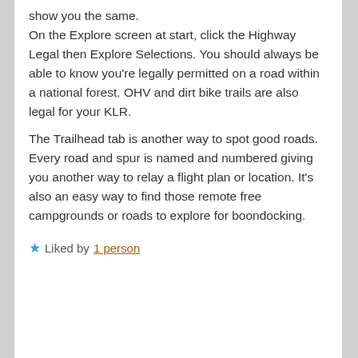show you the same. On the Explore screen at start, click the Highway Legal then Explore Selections. You should always be able to know you're legally permitted on a road within a national forest. OHV and dirt bike trails are also legal for your KLR.
The Trailhead tab is another way to spot good roads. Every road and spur is named and numbered giving you another way to relay a flight plan or location. It's also an easy way to find those remote free campgrounds or roads to explore for boondocking.
★ Liked by 1 person